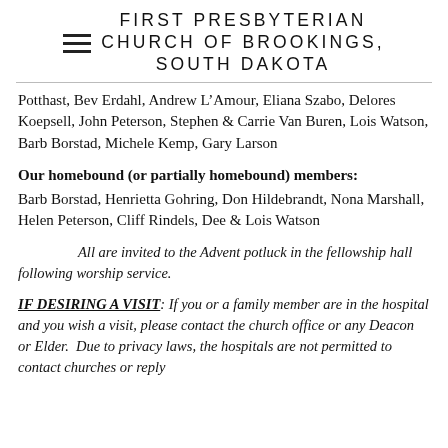FIRST PRESBYTERIAN CHURCH OF BROOKINGS, SOUTH DAKOTA
Potthast, Bev Erdahl, Andrew L'Amour, Eliana Szabo, Delores Koepsell, John Peterson, Stephen & Carrie Van Buren, Lois Watson, Barb Borstad, Michele Kemp, Gary Larson
Our homebound (or partially homebound) members: Barb Borstad, Henrietta Gohring, Don Hildebrandt, Nona Marshall, Helen Peterson, Cliff Rindels, Dee & Lois Watson
All are invited to the Advent potluck in the fellowship hall following worship service.
IF DESIRING A VISIT: If you or a family member are in the hospital and you wish a visit, please contact the church office or any Deacon or Elder. Due to privacy laws, the hospitals are not permitted to contact churches or reply